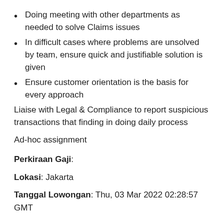Doing meeting with other departments as needed to solve Claims issues
In difficult cases where problems are unsolved by team, ensure quick and justifiable solution is given
Ensure customer orientation is the basis for every approach
Liaise with Legal & Compliance to report suspicious transactions that finding in doing daily process
Ad-hoc assignment
Perkiraan Gaji:
Lokasi: Jakarta
Tanggal Lowongan: Thu, 03 Mar 2022 02:28:57 GMT
Untuk mengajukan lamaran kerja dan mengetahui apakah lamaran masih tersedia atau tidak,silahkan klik